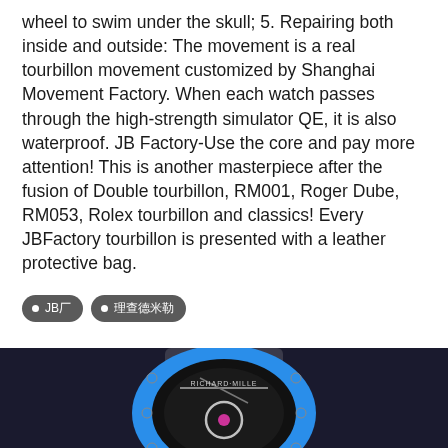wheel to swim under the skull; 5. Repairing both inside and outside: The movement is a real tourbillon movement customized by Shanghai Movement Factory. When each watch passes through the high-strength simulator QE, it is also waterproof. JB Factory-Use the core and pay more attention! This is another masterpiece after the fusion of Double tourbillon, RM001, Roger Dube, RM053, Rolex tourbillon and classics! Every JBFactory tourbillon is presented with a leather protective bag.
JB厂
理查德米勒
[Figure (photo): Richard Mille blue ceramic tourbillon watch with skeleton dial on dark background]